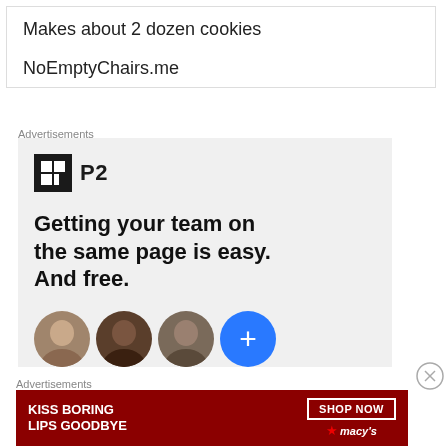Makes about 2 dozen cookies
NoEmptyChairs.me
Advertisements
[Figure (infographic): P2 advertisement with logo showing a black square icon with white H-like symbol and 'P2' text, followed by bold tagline 'Getting your team on the same page is easy. And free.' with circular avatar photos and a blue plus button at the bottom]
Advertisements
[Figure (infographic): Macy's advertisement with dark red/maroon background showing a woman's face with red lips, text 'KISS BORING LIPS GOODBYE' in white on left, 'SHOP NOW' button with 'macy's' star logo on right]